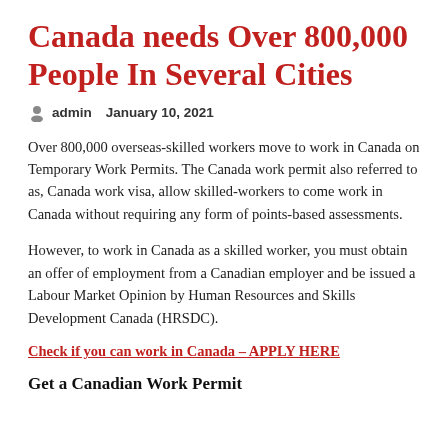Canada needs Over 800,000 People In Several Cities
admin   January 10, 2021
Over 800,000 overseas-skilled workers move to work in Canada on Temporary Work Permits. The Canada work permit also referred to as, Canada work visa, allow skilled-workers to come work in Canada without requiring any form of points-based assessments.
However, to work in Canada as a skilled worker, you must obtain an offer of employment from a Canadian employer and be issued a Labour Market Opinion by Human Resources and Skills Development Canada (HRSDC).
Check if you can work in Canada – APPLY HERE
Get a Canadian Work Permit